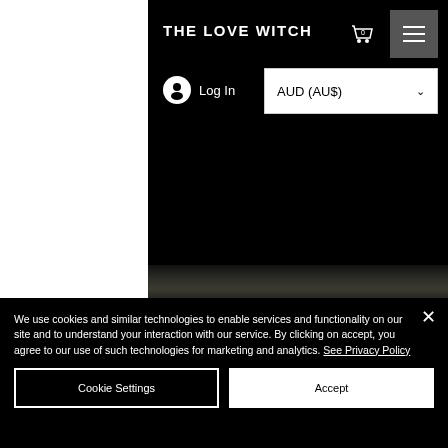THE LOVE WITCH
[Figure (screenshot): Website navigation header with site title 'THE LOVE WITCH', cart icon with 0, hamburger menu button, Log In link with avatar icon, and AUD (AU$) currency dropdown. Below is a dark/black background area with a faint forest image strip at the bottom.]
We use cookies and similar technologies to enable services and functionality on our site and to understand your interaction with our service. By clicking on accept, you agree to our use of such technologies for marketing and analytics. See Privacy Policy
Cookie Settings
Accept